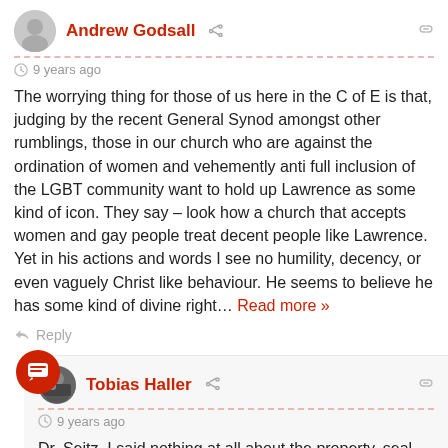Andrew Godsall
9 years ago
The worrying thing for those of us here in the C of E is that, judging by the recent General Synod amongst other rumblings, those in our church who are against the ordination of women and vehemently anti full inclusion of the LGBT community want to hold up Lawrence as some kind of icon. They say – look how a church that accepts women and gay people treat decent people like Lawrence. Yet in his actions and words I see no humility, decency, or even vaguely Christ like behaviour. He seems to believe he has some kind of divine right… Read more »
Reply
Tobias Haller
9 years ago
Dr. Seitz, I said nothing at all about the property, seal, and so on.